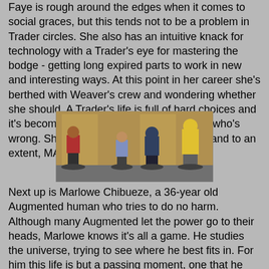Faye is rough around the edges when it comes to social graces, but this tends not to be a problem in Trader circles. She also has an intuitive knack for technology with a Trader's eye for mastering the bodge - getting long expired parts to work in new and interesting ways. At this point in her career she's berthed with Weaver's crew and wondering whether she should. A Trader's life is full of hard choices and it's becoming harder to tell who's right and who's wrong. She has found a friend in Marlowe and to an extent, MAC.
[Figure (photo): Photograph of four painted miniature figurines standing on bases, set against a weathered industrial backdrop. From left to right: a figure in red with a weapon, a figure in light blue, a figure in dark blue/hooded, and a figure in yellow and grey armour.]
Next up is Marlowe Chibueze, a 36-year old Augmented human who tries to do no harm. Although many Augmented let the power go to their heads, Marlowe knows it's all a game. He studies the universe, trying to see where he best fits in. For him this life is but a passing moment, one that he doesn't wish to sully or through inaction allow to be sullied by others.